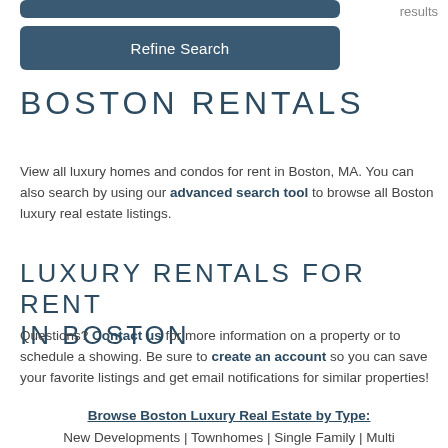results
Refine Search
BOSTON RENTALS
View all luxury homes and condos for rent in Boston, MA. You can also search by using our advanced search tool to browse all Boston luxury real estate listings.
LUXURY RENTALS FOR RENT IN BOSTON
Questions? Contact us for more information on a property or to schedule a showing. Be sure to create an account so you can save your favorite listings and get email notifications for similar properties!
Browse Boston Luxury Real Estate by Type:
New Developments | Townhomes | Single Family | Multi